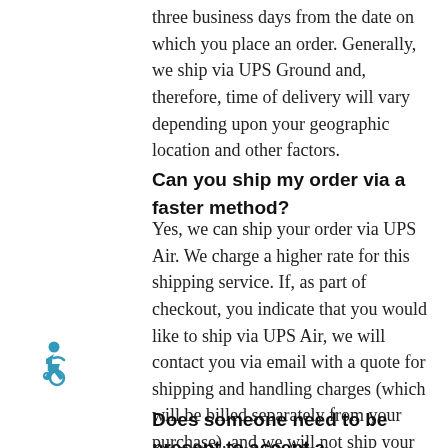three business days from the date on which you place an order. Generally, we ship via UPS Ground and, therefore, time of delivery will vary depending upon your geographic location and other factors.
Can you ship my order via a faster method?
Yes, we can ship your order via UPS Air. We charge a higher rate for this shipping service. If, as part of checkout, you indicate that you would like to ship via UPS Air, we will contact you via email with a quote for shipping and handling charges (which will be billed separately from your purchase), and we will not ship your order until you have approved these charges.
[Figure (illustration): Wheelchair accessibility icon in teal/blue color]
Does someone need to be present to accept a